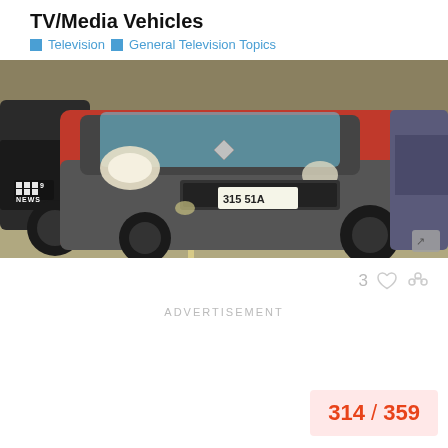TV/Media Vehicles
Television  General Television Topics
[Figure (photo): A red and grey Renault Kangoo van parked in a car park, with license plate 315 51A, Channel 9 News logo visible in lower left corner]
3 (likes/heart icon) (link icon)
ADVERTISEMENT
314 / 359